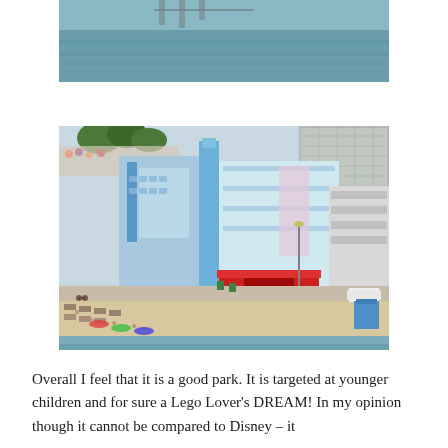[Figure (photo): Partial top photo showing water/river scene, cropped at top of page]
[Figure (photo): Aerial view of a LEGOLAND miniature model of a beach city boardwalk scene, showing colorful Art Deco style buildings, a sandy beach with tiny LEGO people and beach chairs, and blue water in the foreground]
Overall I feel that it is a good park.  It is targeted at younger children and for sure a Lego Lover's DREAM!  In my opinion though it cannot be compared to Disney – it